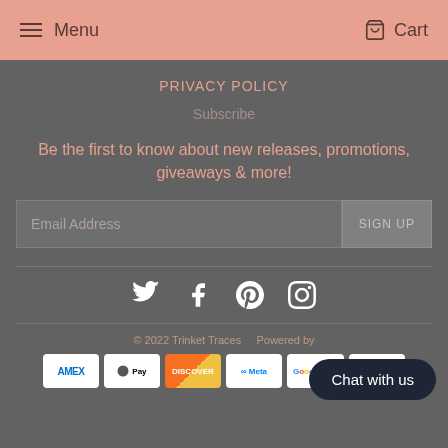Menu   Cart
PRIVACY POLICY
Subscribe
Be the first to know about new releases, promotions, giveaways & more!
Email Address  SIGN UP
[Figure (infographic): Social media icons: Twitter, Facebook, Pinterest, Instagram]
© 2022 Trinket Traces   Powered by [...]
[Figure (infographic): Payment method logos: Amex, Apple Pay, Discover, Meta Pay, Google Pay, Mastercard, and others]
Chat with us